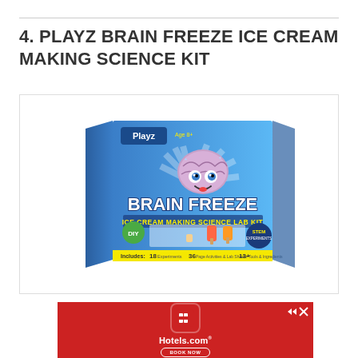4. PLAYZ BRAIN FREEZE ICE CREAM MAKING SCIENCE KIT
[Figure (photo): Product photo of Playz Brain Freeze Ice Cream Making Science Lab Kit box. Blue box with cartoon brain character and text 'BRAIN FREEZE ICE CREAM MAKING SCIENCE LAB KIT'. Includes: 18 Experiments, 36 Page Activities & Lab Sheets, 13+ Tools & Ingredients.]
[Figure (photo): Hotels.com advertisement banner on red background with Hotels.com logo (white H icon in rounded square), Hotels.com text in white, and 'BOOK NOW' button with oval border. Navigation arrows on top right.]